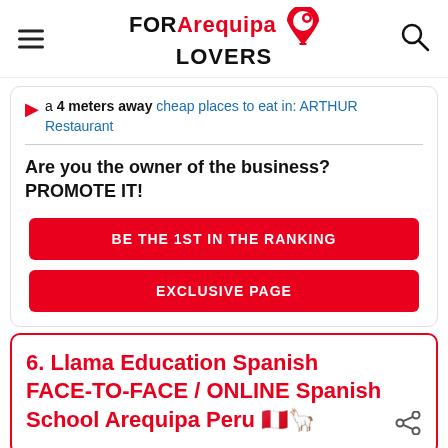FOR Arequipa LOVERS
a 4 meters away cheap places to eat in: ARTHUR Restaurant
Are you the owner of the business? PROMOTE IT!
BE THE 1ST IN THE RANKING
EXCLUSIVE PAGE
6. Llama Education Spanish FACE-TO-FACE / ONLINE Spanish School Arequipa Peru 🇵🇪🦙